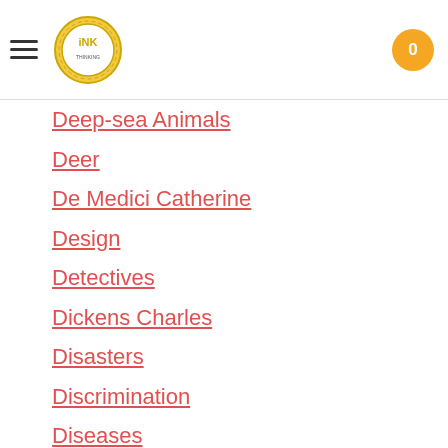INK - Navigation header with logo and cart
Deep-sea Animals
Deer
De Medici Catherine
Design
Detectives
Dickens Charles
Disasters
Discrimination
Diseases
Disney Walt
DNA
Dogs
Dollar
Dolphins
Douglass Frederick 1818-1895